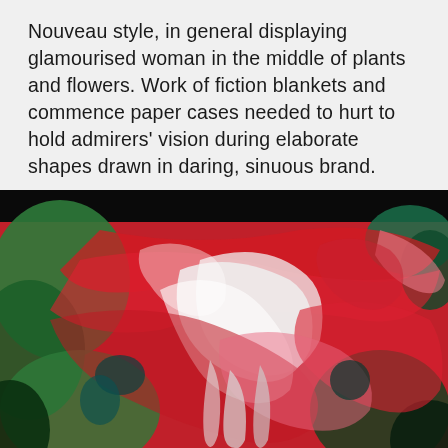Nouveau style, in general displaying glamourised woman in the middle of plants and flowers. Work of fiction blankets and commence paper cases needed to hurt to hold admirers' vision during elaborate shapes drawn in daring, sinuous brand.
[Figure (photo): Close-up abstract painting with swirling brushstrokes in vivid red, pink, white, and green tones, resembling flowers or organic forms. A black bar appears at the top of the image.]